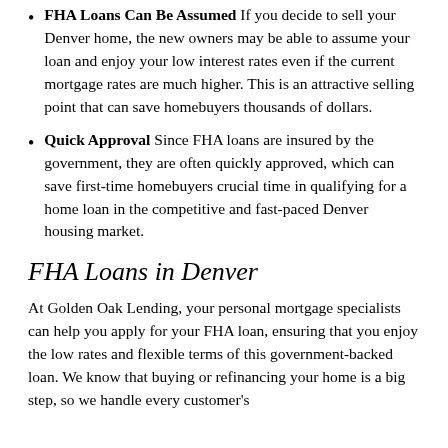FHA Loans Can Be Assumed If you decide to sell your Denver home, the new owners may be able to assume your loan and enjoy your low interest rates even if the current mortgage rates are much higher. This is an attractive selling point that can save homebuyers thousands of dollars.
Quick Approval Since FHA loans are insured by the government, they are often quickly approved, which can save first-time homebuyers crucial time in qualifying for a home loan in the competitive and fast-paced Denver housing market.
FHA Loans in Denver
At Golden Oak Lending, your personal mortgage specialists can help you apply for your FHA loan, ensuring that you enjoy the low rates and flexible terms of this government-backed loan. We know that buying or refinancing your home is a big step, so we handle every customer's